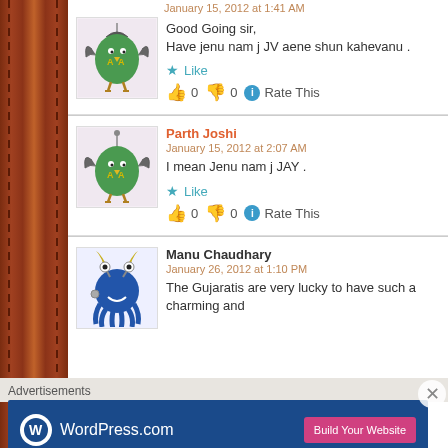January 15, 2012 at 1:41 AM
Good Going sir,
Have jenu nam j JV aene shun kahevanu .
★ Like
👍 0 👎 0 ℹ Rate This
Parth Joshi
January 15, 2012 at 2:07 AM
I mean Jenu nam j JAY .
★ Like
👍 0 👎 0 ℹ Rate This
Manu Chaudhary
January 26, 2012 at 1:10 PM
The Gujaratis are very lucky to have such a charming and
Advertisements
[Figure (screenshot): WordPress.com advertisement banner with logo and 'Build Your Website' button]